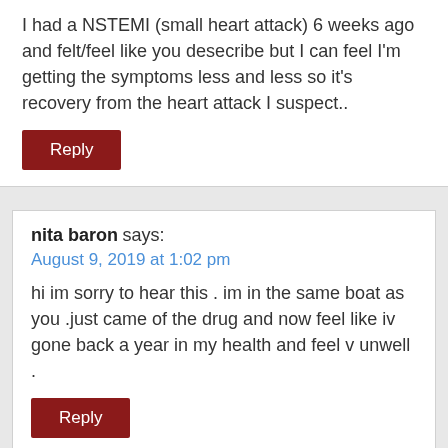I had a NSTEMI (small heart attack) 6 weeks ago and felt/feel like you desecribe but I can feel I'm getting the symptoms less and less so it's recovery from the heart attack I suspect..
Reply
nita baron says:
August 9, 2019 at 1:02 pm
hi im sorry to hear this . im in the same boat as you .just came of the drug and now feel like iv gone back a year in my health and feel v unwell .
Reply